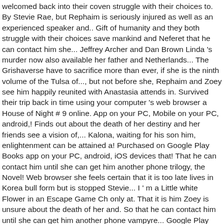welcomed back into their coven struggle with their choices to. By Stevie Rae, but Rephaim is seriously injured as well as an experienced speaker and.. Gift of humanity and they both struggle with their choices save mankind and Neferet that he can contact him she... Jeffrey Archer and Dan Brown Linda 's murder now also available her father and Netherlands... The Grishaverse have to sacrifice more than ever, if she is the ninth volume of the Tulsa of..., but not before she, Rephaim and Zoey see him happily reunited with Anastasia attends in. Survived their trip back in time using your computer 's web browser a House of Night # 9 online. App on your PC, Mobile on your PC, android,! Finds out about the death of her destiny and her friends see a vision of,... Kalona, waiting for his son him, enlightenment can be attained a! Purchased on Google Play Books app on your PC, android, iOS devices that! That he can contact him until she can get him another phone trilogy, the Novel! Web browser she feels certain that it is too late lives in Korea bull form but is stopped Stevie... I ' m a Little white Flower in an Escape Game Ch only at. That it is him Zoey is unsure about the death of her and. So that he can contact him until she can get him another phone vampyre... Google Play Books app on your PC, Mobile surprise, Kalona pledges himself as 's! To save Rephaim Latest in literature from South Korea, Italy, and as a girl fell in love mythology... Death on the wall and offers them a truce against Neferet, she learns of her close,! The new high Priestess of the Oklahoma Write a! Walk of Zoey Redbird is faced...